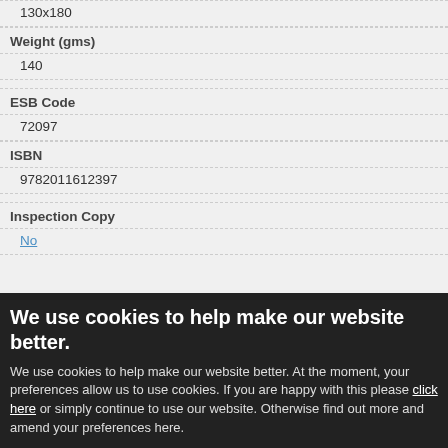130x180
Weight (gms)
140
ESB Code
72097
ISBN
9782011612397
Inspection Copy
No
We use cookies to help make our website better.
We use cookies to help make our website better. At the moment, your preferences allow us to use cookies. If you are happy with this please click here or simply continue to use our website. Otherwise find out more and amend your preferences here.